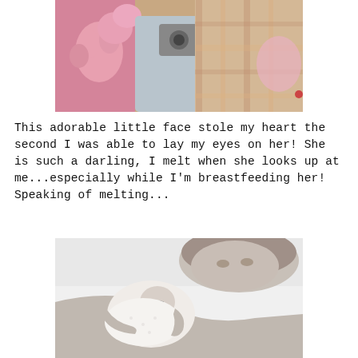[Figure (photo): Color photo of a newborn baby's hands and feet wrapped in pink mittens and booties, surrounded by soft colorful blankets and stuffed animals.]
This adorable little face stole my heart the second I was able to lay my eyes on her! She is such a darling, I melt when she looks up at me...especially while I'm breastfeeding her! Speaking of melting...
[Figure (photo): Black and white photo of a mother lying down and holding a newborn baby swaddled in a white blanket.]